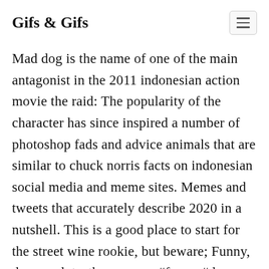Gifs & Gifs
Mad dog is the name of one of the main antagonist in the 2011 indonesian action movie the raid: The popularity of the character has since inspired a number of photoshop fads and advice animals that are similar to chuck norris facts on indonesian social media and meme sites. Memes and tweets that accurately describe 2020 in a nutshell. This is a good place to start for the street wine rookie, but beware; Funny, dog, mad, teeth, vacuum, #funny #dog #mad #